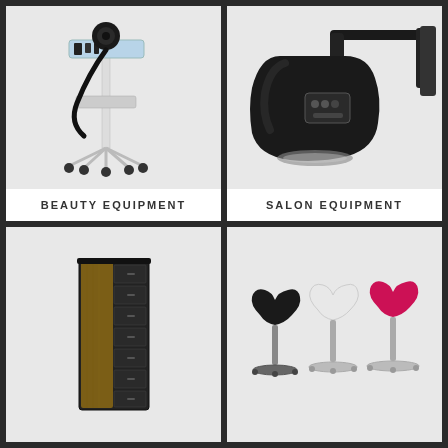[Figure (photo): Beauty equipment: a white medical/beauty trolley cart on wheels with a black suction/vacuum device attached via a black hose, with accessories in a tray on top]
BEAUTY EQUIPMENT
[Figure (photo): Salon equipment: a wall-mounted black professional hair dryer/processor hood with an articulating arm bracket mounted to the wall]
SALON EQUIPMENT
[Figure (photo): A tall narrow salon trolley/storage unit with multiple dark pull-out drawers and a wood-panel side]
[Figure (photo): Three adjustable salon/beauty stools on chrome bases in black, white, and red/magenta colors with butterfly-shaped seats]